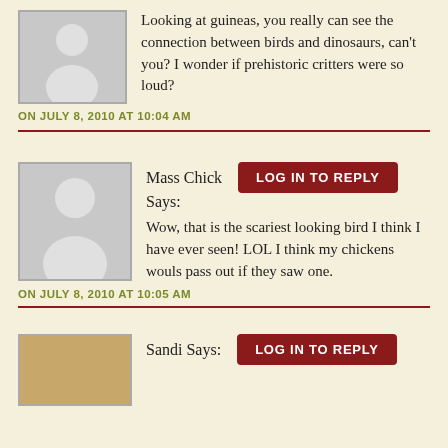Looking at guineas, you really can see the connection between birds and dinosaurs, can't you? I wonder if prehistoric critters were so loud?
ON JULY 8, 2010 AT 10:04 AM
Mass Chick Says:
LOG IN TO REPLY
Wow, that is the scariest looking bird I think I have ever seen! LOL I think my chickens wouls pass out if they saw one.
ON JULY 8, 2010 AT 10:05 AM
Sandi Says:
LOG IN TO REPLY